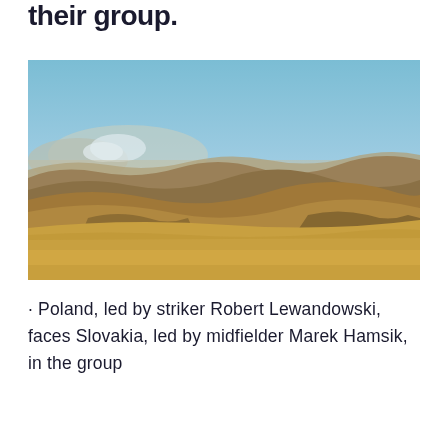their group.
[Figure (photo): Wide landscape photograph showing rolling dry golden-brown hills under a clear blue sky with distant mountains and a hazy valley in the background.]
· Poland, led by striker Robert Lewandowski, faces Slovakia, led by midfielder Marek Hamsik, in the group